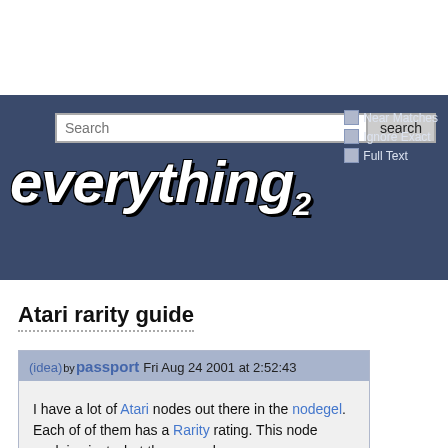[Figure (screenshot): Everything2 website header with search bar, Near Matches/Ignore Exact/Full Text checkboxes, and everything2 logo]
Atari rarity guide
(idea) by passport Fri Aug 24 2001 at 2:52:43
I have a lot of Atari nodes out there in the nodegel. Each of of them has a Rarity rating. This node explains just what those numbers...